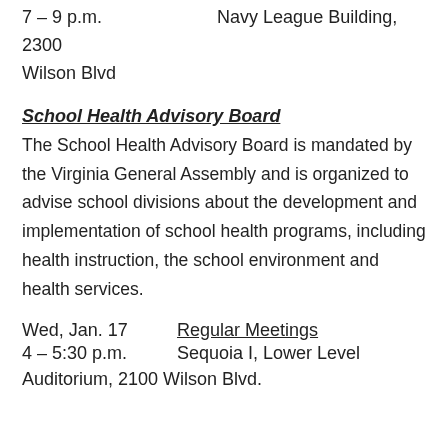7 – 9 p.m.                    Navy League Building, 2300 Wilson Blvd
School Health Advisory Board
The School Health Advisory Board is mandated by the Virginia General Assembly and is organized to advise school divisions about the development and implementation of school health programs, including health instruction, the school environment and health services.
Wed, Jan. 17          Regular Meetings
4 – 5:30 p.m.           Sequoia I, Lower Level Auditorium, 2100 Wilson Blvd.